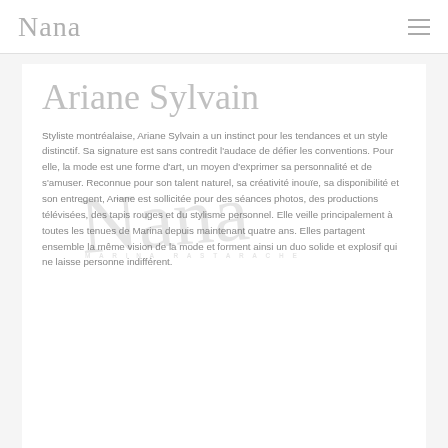Nana
Ariane Sylvain
Styliste montréalaise, Ariane Sylvain a un instinct pour les tendances et un style distinctif. Sa signature est sans contredit l'audace de défier les conventions. Pour elle, la mode est une forme d'art, un moyen d'exprimer sa personnalité et de s'amuser. Reconnue pour son talent naturel, sa créativité inouïe, sa disponibilité et son entregent, Ariane est sollicitée pour des séances photos, des productions télévisées, des tapis rouges et du stylisme personnel. Elle veille principalement à toutes les tenues de Marina depuis maintenant quatre ans. Elles partagent ensemble la même vision de la mode et forment ainsi un duo solide et explosif qui ne laisse personne indifférent.